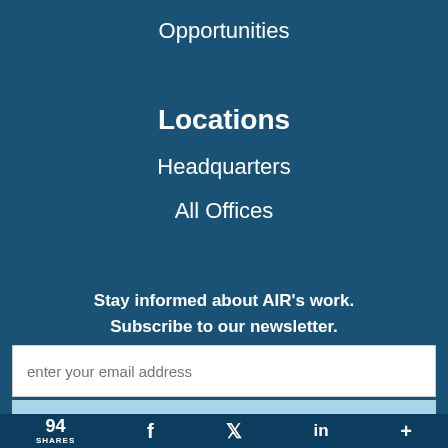Opportunities
Locations
Headquarters
All Offices
Stay informed about AIR's work. Subscribe to our newsletter.
enter your email address
94 SHARES